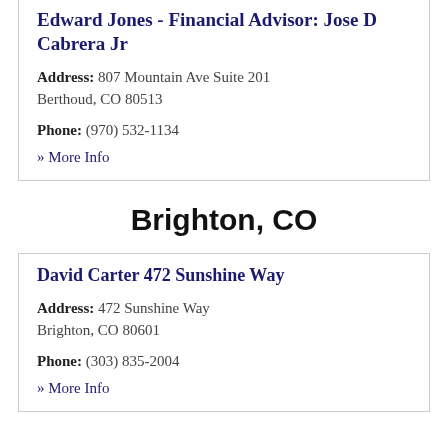Edward Jones - Financial Advisor: Jose D Cabrera Jr
Address: 807 Mountain Ave Suite 201 Berthoud, CO 80513
Phone: (970) 532-1134
» More Info
Brighton, CO
David Carter 472 Sunshine Way
Address: 472 Sunshine Way Brighton, CO 80601
Phone: (303) 835-2004
» More Info